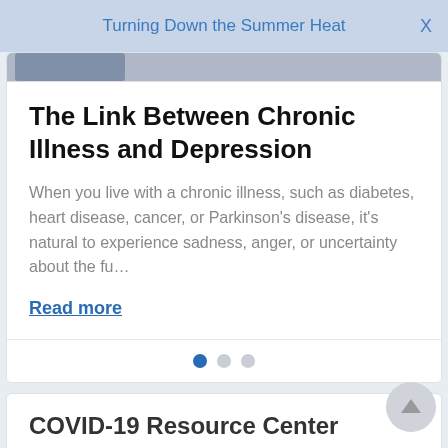Turning Down the Summer Heat
The Link Between Chronic Illness and Depression
When you live with a chronic illness, such as diabetes, heart disease, cancer, or Parkinson’s disease, it’s natural to experience sadness, anger, or uncertainty about the fu…
Read more
COVID-19 Resource Center